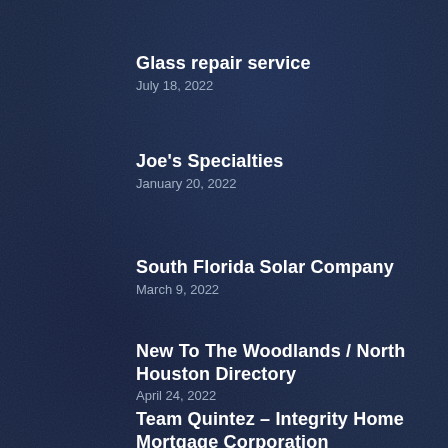Glass repair service
July 18, 2022
Joe's Specialties
January 20, 2022
South Florida Solar Company
March 9, 2022
New To The Woodlands / North Houston Directory
April 24, 2022
Team Quintez – Integrity Home Mortgage Corporation